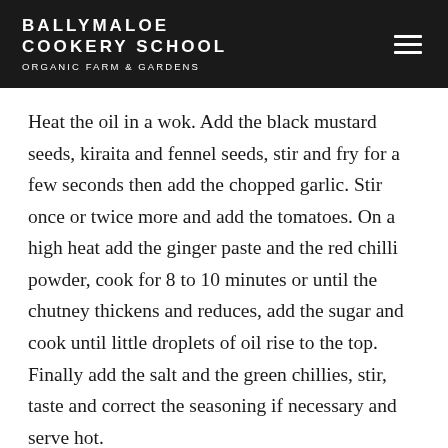BALLYMALOE COOKERY SCHOOL ORGANIC FARM & GARDENS
Heat the oil in a wok. Add the black mustard seeds, kiraita and fennel seeds, stir and fry for a few seconds then add the chopped garlic. Stir once or twice more and add the tomatoes. On a high heat add the ginger paste and the red chilli powder, cook for 8 to 10 minutes or until the chutney thickens and reduces, add the sugar and cook until little droplets of oil rise to the top. Finally add the salt and the green chillies, stir, taste and correct the seasoning if necessary and serve hot.
Chapatis